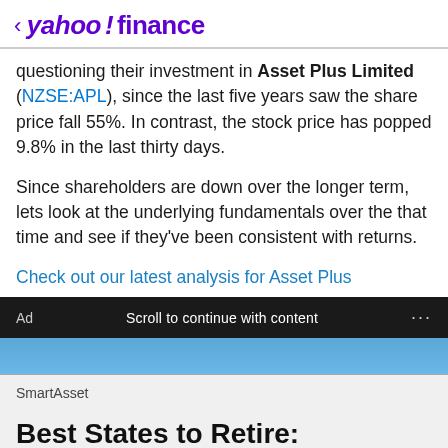< yahoo!finance
questioning their investment in Asset Plus Limited (NZSE:APL), since the last five years saw the share price fall 55%. In contrast, the stock price has popped 9.8% in the last thirty days.
Since shareholders are down over the longer term, lets look at the underlying fundamentals over the that time and see if they've been consistent with returns.
Check out our latest analysis for Asset Plus
Ad  Scroll to continue with content  ...
[Figure (photo): Partial photo of a person in blue clothing, used as advertisement image]
SmartAsset
Best States to Retire: Here's Our List